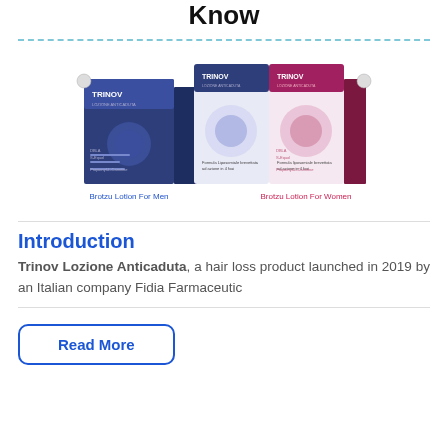Know
[Figure (photo): Product image showing Trinov hair loss lotion boxes for men (blue/navy) and for women (pink/magenta), with labels 'Brotzu Lotion For Men' and 'Brotzu Lotion For Women']
Introduction
Trinov Lozione Anticaduta, a hair loss product launched in 2019 by an Italian company Fidia Farmaceutic
Read More